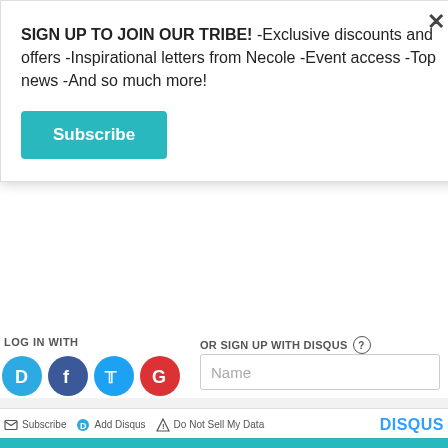SIGN UP TO JOIN OUR TRIBE! -Exclusive discounts and offers -Inspirational letters from Necole -Event access -Top news -And so much more!
Subscribe
LOG IN WITH
OR SIGN UP WITH DISQUS ?
Name
Be the first to comment.
Subscribe  Add Disqus  Do Not Sell My Data  DISQUS
[Figure (infographic): SHE Partner Network ad banner with woman photo, bullet points about Earning site & social revenue and Traffic growth, SHE logo, and LEARN MORE button]